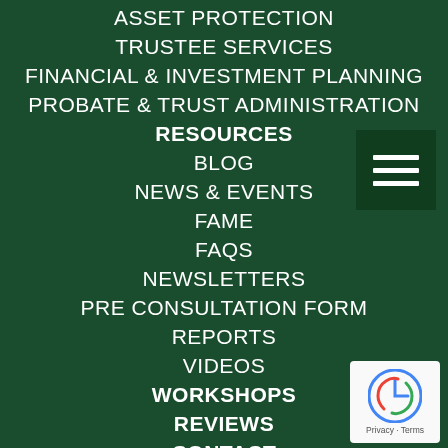ASSET PROTECTION
TRUSTEE SERVICES
FINANCIAL & INVESTMENT PLANNING
PROBATE & TRUST ADMINISTRATION
RESOURCES
BLOG
NEWS & EVENTS
FAME
FAQS
NEWSLETTERS
PRE CONSULTATION FORM
REPORTS
VIDEOS
WORKSHOPS
REVIEWS
CONTACT
AMERICAN ACADEMY
ACADEMY FELLOW DESIGNATION